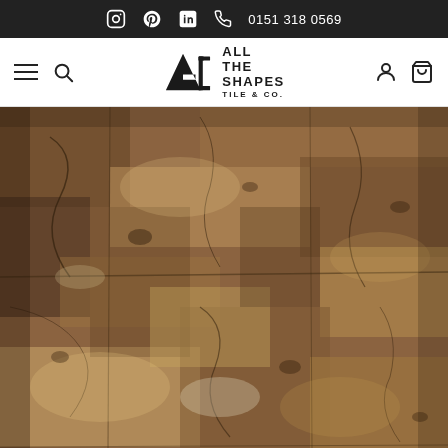Instagram Pinterest LinkedIn  0151 318 0569
[Figure (logo): All The Shapes Tile & Co. logo with navigation icons (hamburger menu, search, user account, cart)]
[Figure (photo): Close-up photograph of a rustic stone or porcelain tile with warm brown, tan, and dark grey textured surface resembling aged stone or fossils]